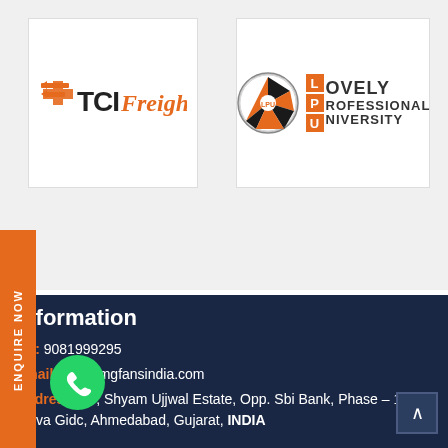[Figure (logo): TCI Freight logo — orange fork-lift icon and bold text 'TCI Freight']
[Figure (logo): Lovely Professional University (LPU) logo — circular emblem with orange/black design and LPU letter squares with text LOVELY PROFESSIONAL UNIVERSITY]
ENQUIRE NOW
[Figure (illustration): Green WhatsApp phone icon circle]
Information
Tel: 9081999295
Email: info@mgfansindia.com
Address: 27, Shyam Ujjwal Estate, Opp. Sbi Bank, Phase – 1, Vatva Gidc, Ahmedabad, Gujarat, INDIA